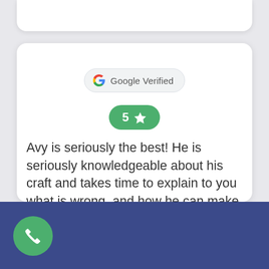[Figure (logo): Google Verified badge with Google G logo]
[Figure (infographic): 5 star rating badge in green]
Avy is seriously the best! He is seriously knowledgeable about his craft and takes time to explain to you what is wrong, and how he can make it work properly. I HIGHLY recommend Avy for your residential lock needs. I trust his work and really felt like he was honest and
[Figure (infographic): Phone call button (green circle with phone icon) on dark blue footer bar]